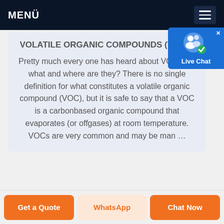MENÜ
[Figure (screenshot): Live Chat widget with user icon and checkmark badge, blue background, labeled 'Live Chat']
VOLATILE ORGANIC COMPOUNDS (VOCS)
Pretty much every one has heard about VOCs but what and where are they? There is no single definition for what constitutes a volatile organic compound (VOC), but it is safe to say that a VOC is a carbonbased organic compound that evaporates (or offgases) at room temperature. VOCs are very common and may be man …
Get a Quote | WhatsApp | Chat Now